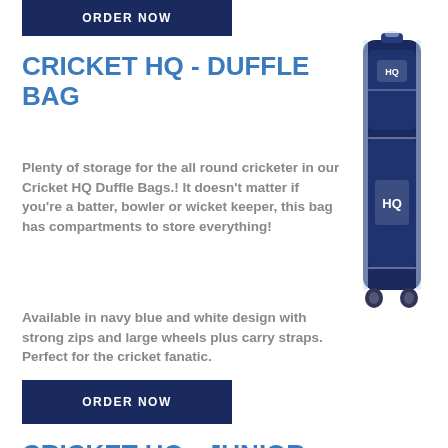[Figure (other): ORDER NOW button at top, dark navy blue rectangle]
CRICKET HQ - DUFFLE BAG
[Figure (photo): Navy blue Cricket HQ duffle cricket bag standing upright, tall and slim with white trim and HQ logo]
Plenty of storage for the all round cricketer in our Cricket HQ Duffle Bags.! It doesn't matter if you're a batter, bowler or wicket keeper, this bag has compartments to store everything!
Available in navy blue and white design with strong zips and large wheels plus carry straps. Perfect for the cricket fanatic.
[Figure (other): ORDER NOW button, dark navy blue rectangle]
CRICKET HQ - JUNIOR BAG